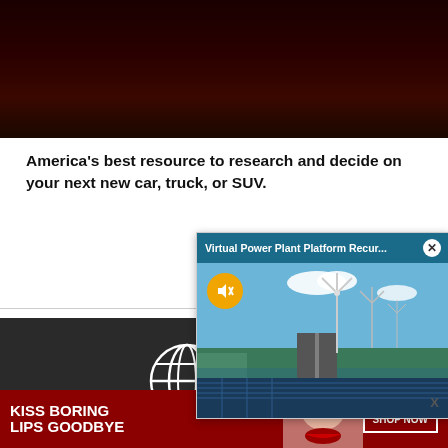[Figure (photo): Dark red/brown gradient header background at top of page]
America's best resource to research and decide on your next new car, truck, or SUV.
[Figure (screenshot): Advertisement popup overlay showing 'Virtual Power Plant Platform Recur...' with aerial photo of wind turbines and solar panels along a waterway road. Has mute button (orange circle with speaker icon), close X button, and an X label at bottom right.]
[Figure (photo): Dark footer area with white globe/world icon]
[Figure (photo): Bottom banner advertisement: dark red background with 'KISS BORING LIPS GOODBYE' text, woman's face with red lipstick, and 'SHOP NOW' button]